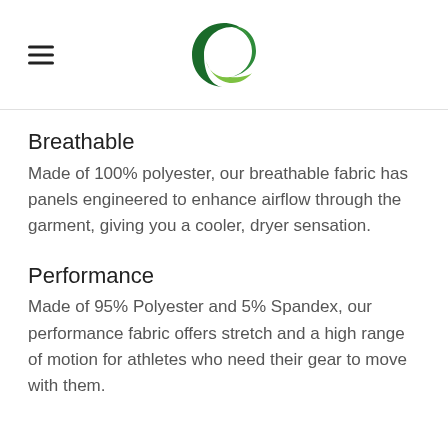[Figure (logo): Green circular swoosh logo at the top center of the page]
Breathable
Made of 100% polyester, our breathable fabric has panels engineered to enhance airflow through the garment, giving you a cooler, dryer sensation.
Performance
Made of 95% Polyester and 5% Spandex, our performance fabric offers stretch and a high range of motion for athletes who need their gear to move with them.